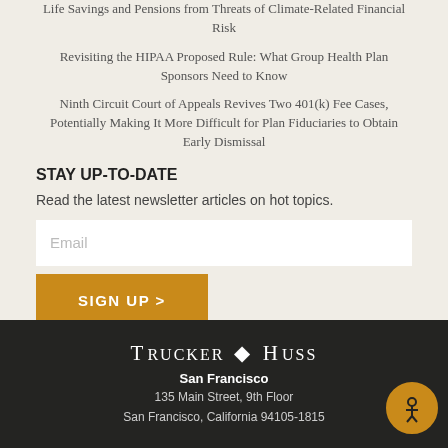Life Savings and Pensions from Threats of Climate-Related Financial Risk
Revisiting the HIPAA Proposed Rule: What Group Health Plan Sponsors Need to Know
Ninth Circuit Court of Appeals Revives Two 401(k) Fee Cases, Potentially Making It More Difficult for Plan Fiduciaries to Obtain Early Dismissal
STAY UP-TO-DATE
Read the latest newsletter articles on hot topics.
[Figure (other): Email input field with placeholder text 'Email']
[Figure (other): Gold 'SIGN UP >' button]
Trucker ✦ Huss
San Francisco
135 Main Street, 9th Floor
San Francisco, California 94105-1815